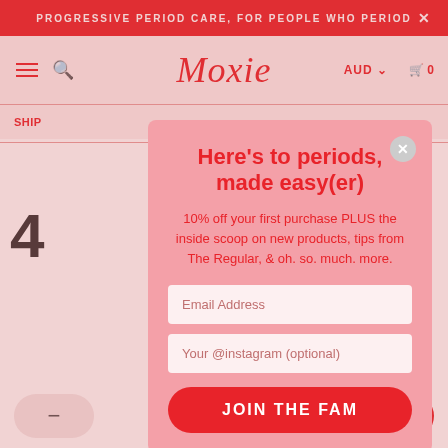PROGRESSIVE PERIOD CARE, FOR PEOPLE WHO PERIOD
[Figure (screenshot): Moxie website navigation bar with hamburger menu, search icon, Moxie script logo in red, AUD currency selector, and cart icon showing 0 items]
SHIP
Here's to periods, made easy(er)
10% off your first purchase PLUS the inside scoop on new products, tips from The Regular, & oh. so. much. more.
Email Address
Your @instagram (optional)
JOIN THE FAM